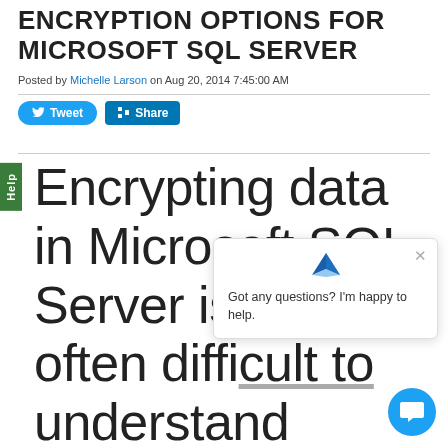ENCRYPTION OPTIONS FOR MICROSOFT SQL SERVER
Posted by Michelle Larson on Aug 20, 2014 7:45:00 AM
[Figure (other): Twitter Tweet and LinkedIn Share social sharing buttons]
Encrypting data in Microsoft SQL Server is easy to often difficult to understand because of the different
[Figure (other): Chat popup widget with logo and message 'Got any questions? I'm happy to help.' and blue chat bubble button]